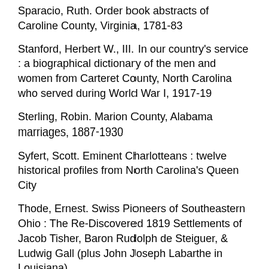Sparacio, Ruth. Order book abstracts of Caroline County, Virginia, 1781-83
Stanford, Herbert W., III. In our country's service : a biographical dictionary of the men and women from Carteret County, North Carolina who served during World War I, 1917-19
Sterling, Robin. Marion County, Alabama marriages, 1887-1930
Syfert, Scott. Eminent Charlotteans : twelve historical profiles from North Carolina's Queen City
Thode, Ernest. Swiss Pioneers of Southeastern Ohio : The Re-Discovered 1819 Settlements of Jacob Tisher, Baron Rudolph de Steiguer, & Ludwig Gall (plus John Joseph Labarthe in Louisiana)
Tucker, Emily. Faulkner County, Arkansas, marriages 1873-1925